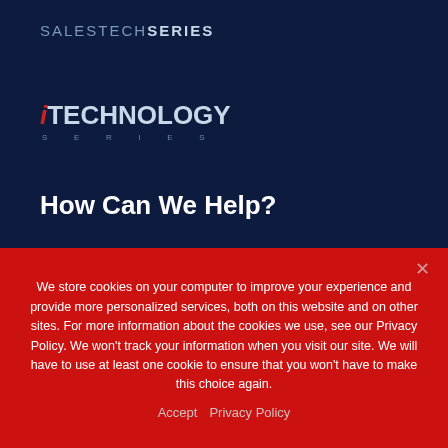SALESTECHSERIES
[Figure (logo): iTECHNOLOGY SERIES logo with red italic i, grey TECHNOLOGY text, and SERIES subtitle in spaced caps]
How Can We Help?
Name*
Phone*
Business Email*
Company*
We store cookies on your computer to improve your experience and provide more personalized services, both on this website and on other sites. For more information about the cookies we use, see our Privacy Policy. We won't track your information when you visit our site. We will have to use at least one cookie to ensure that you won't have to make this choice again.
Accept   Privacy Policy